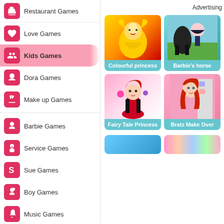Restaurant Games
Love Games
Kids Games
Dora Games
Make up Games
Barbie Games
Service Games
Sue Games
Boy Games
Music Games
Celebrity Games
Funny Games
Advertising
[Figure (illustration): Colourful princess - anime girl in golden dress]
Colourful princess
[Figure (illustration): Barbie's horse - two girls with horses]
Barbie's horse
[Figure (illustration): Fairy Tale Princess - red-haired princess character]
Fairy Tale Princess
[Figure (illustration): Bratz Make Over - red-haired Bratz doll character]
Bratz Make Over